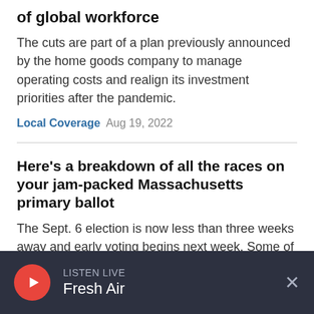of global workforce
The cuts are part of a plan previously announced by the home goods company to manage operating costs and realign its investment priorities after the pandemic.
Local Coverage  Aug 19, 2022
Here's a breakdown of all the races on your jam-packed Massachusetts primary ballot
The Sept. 6 election is now less than three weeks away and early voting begins next week. Some of you have already sent back mail-in ballots but,
LISTEN LIVE  Fresh Air